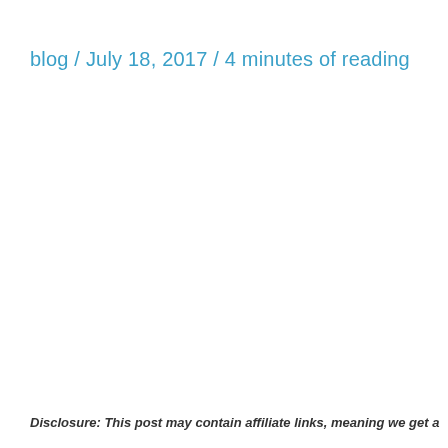blog / July 18, 2017 / 4 minutes of reading
Disclosure: This post may contain affiliate links, meaning we get a